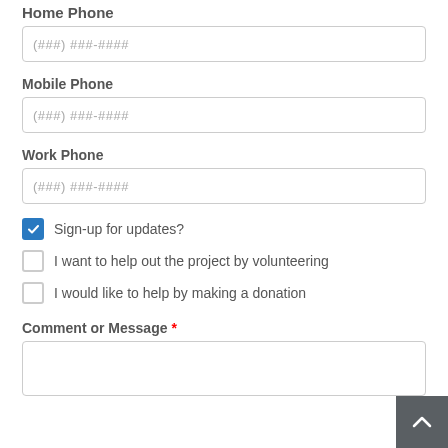Home Phone
(###) ###-####
Mobile Phone
(###) ###-####
Work Phone
(###) ###-####
Sign-up for updates? [checked]
I want to help out the project by volunteering [unchecked]
I would like to help by making a donation [unchecked]
Comment or Message *